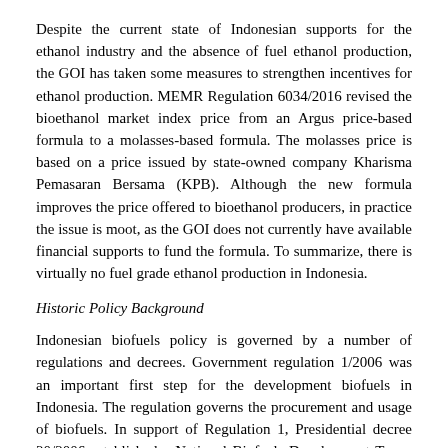Despite the current state of Indonesian supports for the ethanol industry and the absence of fuel ethanol production, the GOI has taken some measures to strengthen incentives for ethanol production. MEMR Regulation 6034/2016 revised the bioethanol market index price from an Argus price-based formula to a molasses-based formula. The molasses price is based on a price issued by state-owned company Kharisma Pemasaran Bersama (KPB). Although the new formula improves the price offered to bioethanol producers, in practice the issue is moot, as the GOI does not currently have available financial supports to fund the formula. To summarize, there is virtually no fuel grade ethanol production in Indonesia.
Historic Policy Background
Indonesian biofuels policy is governed by a number of regulations and decrees. Government regulation 1/2006 was an important first step for the development biofuels in Indonesia. The regulation governs the procurement and usage of biofuels. In support of Regulation 1, Presidential decree 20/2006 established a National Biofuels Development Team, which supervises biofuel implementation programs and has created a blueprint for biofuels development. This was followed by Indonesia's House of Representative (DPR), which passed Energy Law (UU 30/2007) to strengthen regulations prioritizing the use of